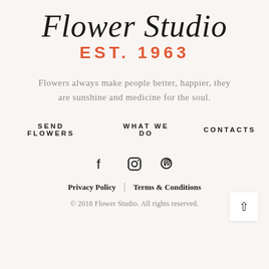Flower Studio
EST. 1963
Flowers always make people better, happier, they are sunshine and medicine for the soul.
SEND FLOWERS
WHAT WE DO
CONTACTS
[Figure (other): Social media icons: Facebook, Instagram, Pinterest]
Privacy Policy
Terms & Conditions
© 2018 Flower Studio. All rights reserved.